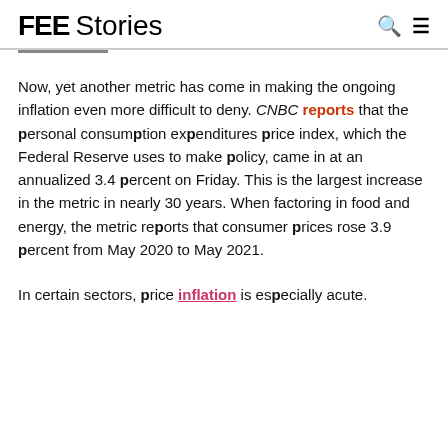FEE Stories
Now, yet another metric has come in making the ongoing inflation even more difficult to deny. CNBC reports that the personal consumption expenditures price index, which the Federal Reserve uses to make policy, came in at an annualized 3.4 percent on Friday. This is the largest increase in the metric in nearly 30 years. When factoring in food and energy, the metric reports that consumer prices rose 3.9 percent from May 2020 to May 2021.
In certain sectors, price inflation is especially acute.